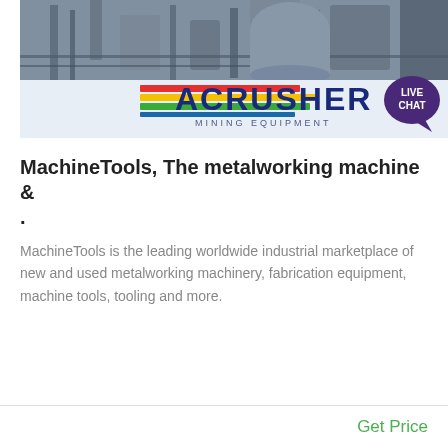[Figure (photo): Industrial mining equipment facility photo with ACRUSHER MINING EQUIPMENT branding visible on a white surface with colored stripes (red, yellow, green, blue) and dark blue bold lettering. Background shows industrial machinery and structures.]
MachineTools, The metalworking machine & .
MachineTools is the leading worldwide industrial marketplace of new and used metalworking machinery, fabrication equipment, machine tools, tooling and more.
Get Price